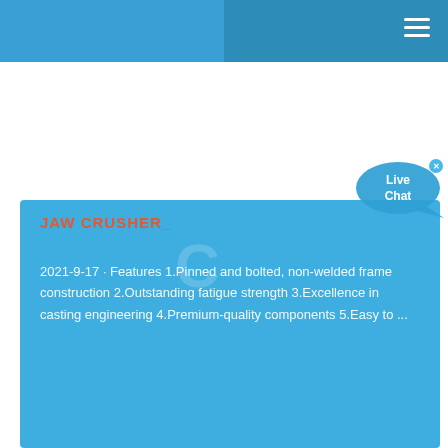[Figure (other): Live Chat bubble widget in top-right area, blue speech bubble with 'Live Chat' text and a close X button]
JAW CRUSHER_
2021-9-17 · Features 1.Pinned and bolted, non-welded frame construction 2.Outstanding fatigue strength 3.Excellence in casting engineering 4.Premium-quality components 5.Easy to ...